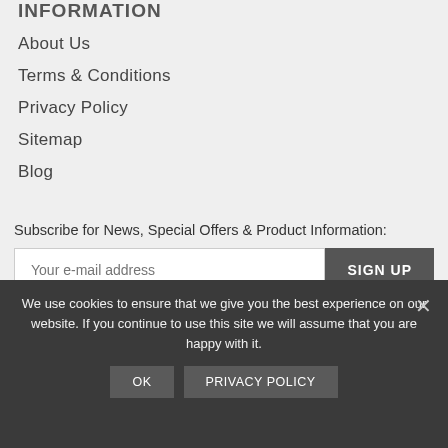INFORMATION
About Us
Terms & Conditions
Privacy Policy
Sitemap
Blog
Subscribe for News, Special Offers & Product Information:
Your e-mail address
SIGN UP
[Figure (other): Payment method icons: PayPal, MasterCard, VISA, American Express, Discover Network]
We use cookies to ensure that we give you the best experience on our website. If you continue to use this site we will assume that you are happy with it.
OK
PRIVACY POLICY